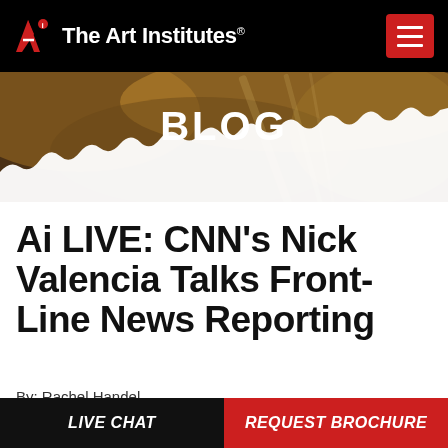[Figure (logo): The Art Institutes logo with red 'Ai' icon and white text 'The Art Institutes®' on black header bar]
[Figure (photo): Blog banner with warm golden/brown bokeh background and bold white text 'BLOG' centered, with torn/ragged bottom edge]
Ai LIVE: CNN's Nick Valencia Talks Front-Line News Reporting
By: Rachel Handel
LIVE CHAT | REQUEST BROCHURE